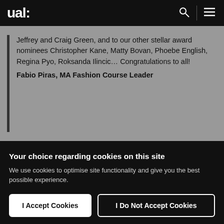ual:
Jeffrey and Craig Green, and to our other stellar award nominees Christopher Kane, Matty Bovan, Phoebe English, Regina Pyo, Roksanda Ilincic… Congratulations to all! Fabio Piras, MA Fashion Course Leader
Your choice regarding cookies on this site
We use cookies to optimise site functionality and give you the best possible experience.
I Accept Cookies
I Do Not Accept Cookies
Settings